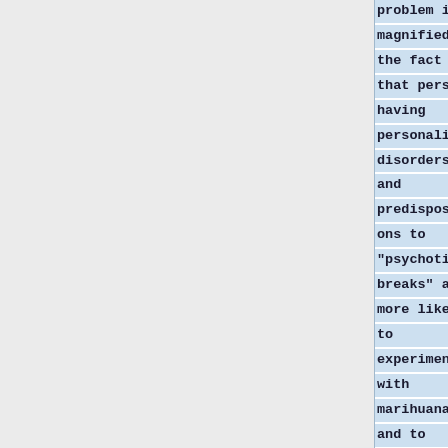problem is magnified by the fact that persons having personality disorders and predispositions to "psychotic breaks" are more likely to experiment with marihuana and to become psychologically dependent